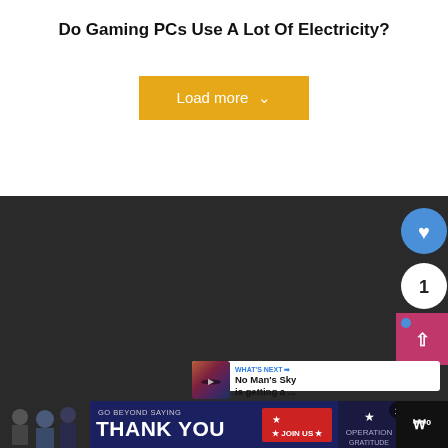Do Gaming PCs Use A Lot Of Electricity?
[Figure (other): Load more button (yellow/gold background) with chevron down icon]
[Figure (screenshot): Dark background section with heart/like button (blue circle with heart icon), count badge showing '1', share block (pink/magenta), 'What's Next' card showing 'No Man's Sky is getting a ...' with thumbnail image]
[Figure (other): Advertisement banner: 'Go Beyond Saying Thank You - Operation Gratitude - Join Us' with people photo on left and close button. Logo area on right with stylized 'W' mark.]